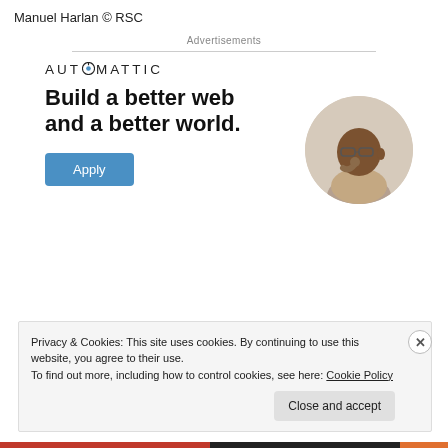Manuel Harlan © RSC
Advertisements
[Figure (infographic): Automattic advertisement banner. Shows the Automattic logo at top, bold headline text 'Build a better web and a better world.', a blue 'Apply' button, and a circular portrait photo of a man in a beige shirt, thinking with hand on chin.]
Privacy & Cookies: This site uses cookies. By continuing to use this website, you agree to their use.
To find out more, including how to control cookies, see here: Cookie Policy
Close and accept